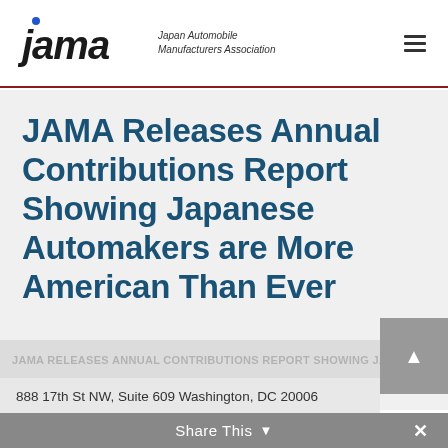jama Japan Automobile Manufacturers Association
JAMA Releases Annual Contributions Report Showing Japanese Automakers are More American Than Ever
888 17th St NW, Suite 609 Washington, DC 20006
Share This